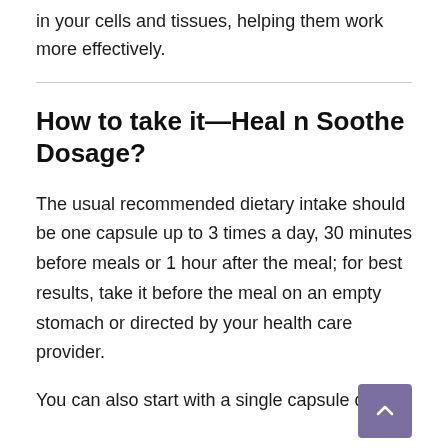in your cells and tissues, helping them work more effectively.
How to take it—Heal n Soothe Dosage?
The usual recommended dietary intake should be one capsule up to 3 times a day, 30 minutes before meals or 1 hour after the meal; for best results, take it before the meal on an empty stomach or directed by your health care provider.
You can also start with a single capsule dose